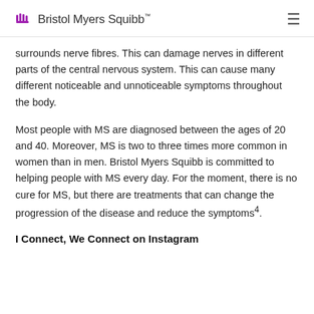Bristol Myers Squibb
surrounds nerve fibres. This can damage nerves in different parts of the central nervous system. This can cause many different noticeable and unnoticeable symptoms throughout the body.
Most people with MS are diagnosed between the ages of 20 and 40. Moreover, MS is two to three times more common in women than in men. Bristol Myers Squibb is committed to helping people with MS every day. For the moment, there is no cure for MS, but there are treatments that can change the progression of the disease and reduce the symptoms4.
I Connect, We Connect on Instagram